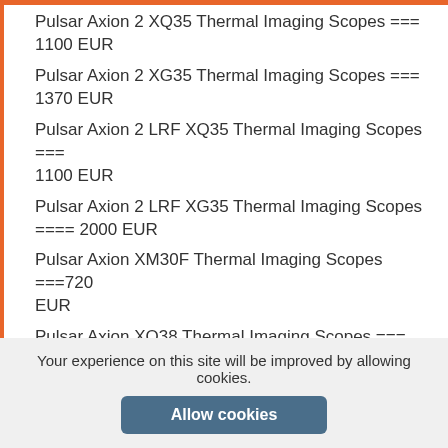Pulsar Axion 2 XQ35 Thermal Imaging Scopes === 1100 EUR
Pulsar Axion 2 XG35 Thermal Imaging Scopes === 1370 EUR
Pulsar Axion 2 LRF XQ35 Thermal Imaging Scopes === 1100 EUR
Pulsar Axion 2 LRF XG35 Thermal Imaging Scopes ==== 2000 EUR
Pulsar Axion XM30F Thermal Imaging Scopes ===720 EUR
Pulsar Axion XQ38 Thermal Imaging Scopes === 1200 EUR
Pulsar Axion LRF XQ38 Thermal Imaging Scopes === 1400 EUR
Pulsar Axion XM30S Thermal Imaging Scopes === 900
Your experience on this site will be improved by allowing cookies.
Allow cookies